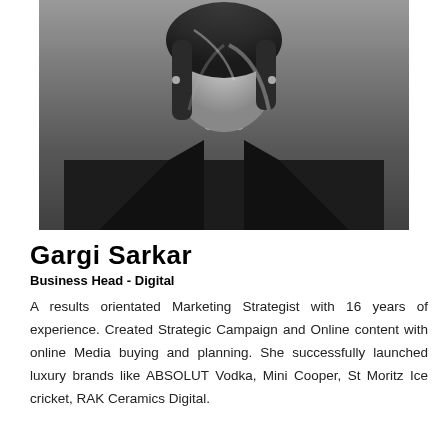[Figure (photo): Black and white portrait photograph of Gargi Sarkar, a woman with shoulder-length hair wearing a black blazer, photographed from the torso up against a grey background.]
Gargi Sarkar
Business Head - Digital
A results orientated Marketing Strategist with 16 years of experience. Created Strategic Campaign and Online content with online Media buying and planning. She successfully launched luxury brands like ABSOLUT Vodka, Mini Cooper, St Moritz Ice cricket, RAK Ceramics Digital.